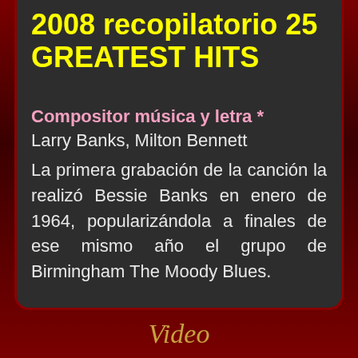2008 recopilatorio 25 GREATEST HITS
Compositor música y letra *
Larry Banks, Milton Bennett
La primera grabación de la canción la realizó Bessie Banks en enero de 1964, popularizándola a finales de ese mismo año el grupo de Birmingham The Moody Blues.
Video